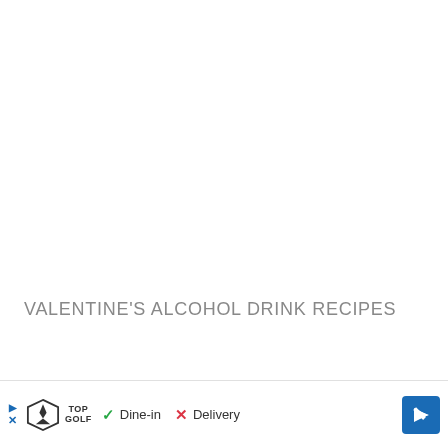VALENTINE'S ALCOHOL DRINK RECIPES
Pink Mo...
[Figure (other): Advertisement banner for TopGolf showing Dine-in (checkmark) and Delivery (X) options with navigation arrow]